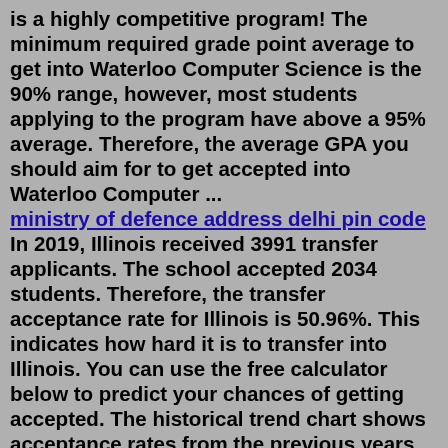is a highly competitive program! The minimum required grade point average to get into Waterloo Computer Science is the 90% range, however, most students applying to the program have above a 95% average. Therefore, the average GPA you should aim for to get accepted into Waterloo Computer ... ministry of defence address delhi pin code In 2019, Illinois received 3991 transfer applicants. The school accepted 2034 students. Therefore, the transfer acceptance rate for Illinois is 50.96%. This indicates how hard it is to transfer into Illinois. You can use the free calculator below to predict your chances of getting accepted. The historical trend chart shows acceptance rates from the previous years, from which we have projected the acceptance rate for the 2022-2023 school year. The overall acceptance rate trend for Penn State has been getting much higher in the past few years. Acceptance Rate By Year. 2016-2017: 56.4%; 2017-2018: 50.3%; 2018-2019: 56.5%; 2019-2020: ...Transfer Acceptance Rates You are here: AdmissionSight Transfer Acceptance Rates US News...